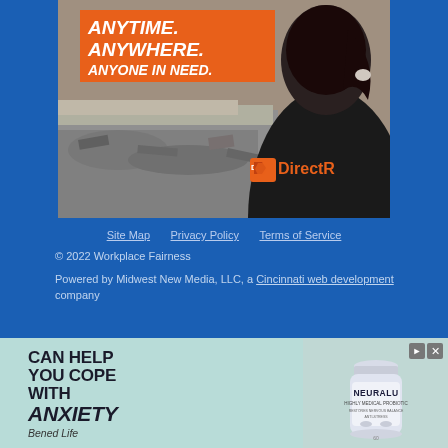[Figure (photo): DirectRelief advertisement showing a person in a black jacket with DirectRelief logo viewed from behind, looking at disaster debris, with orange banner reading ANYTIME. ANYWHERE. ANYONE IN NEED.]
Site Map   Privacy Policy   Terms of Service
© 2022 Workplace Fairness
Powered by Midwest New Media, LLC, a Cincinnati web development company
[Figure (infographic): Advertisement for Bened Life Neuralu probiotic supplement with text CAN HELP YOU COPE WITH ANXIETY and an image of the supplement bottle]